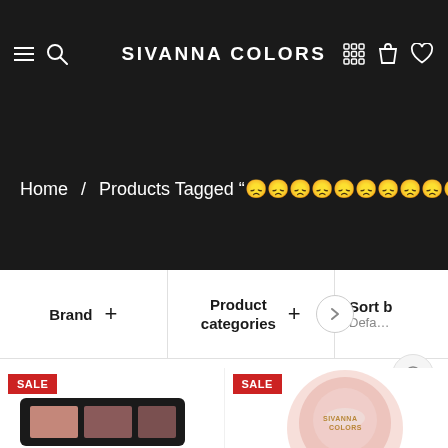SIVANNA COLORS
Home / Products Tagged "😞😞😞😞😞😞😞😞😞😞😞😞😞😞😞"
Brand +
Product categories +
Sort by Default
[Figure (photo): Makeup palette product with SALE badge]
[Figure (photo): Round Sivanna Colors makeup product with SALE badge]